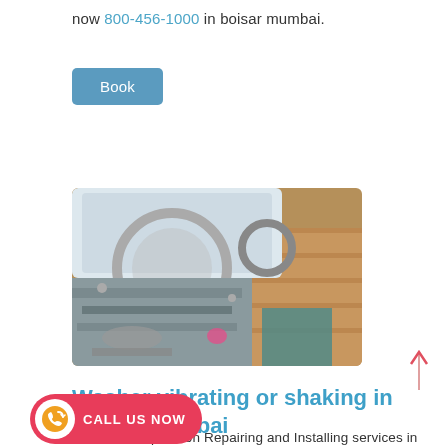now 800-456-1000 in boisar mumbai.
[Figure (other): Book button - blue/teal rounded rectangle button with white text 'Book']
[Figure (photo): Photo of a disassembled washing machine with internal parts visible, placed on a wooden floor]
Washer vibrating or shaking in boisar mumbai
Get the best price on Repairing and Installing services in your areas.just a one call 800-456- bai.
[Figure (other): Red call-to-action button with phone icon and text CALL US NOW]